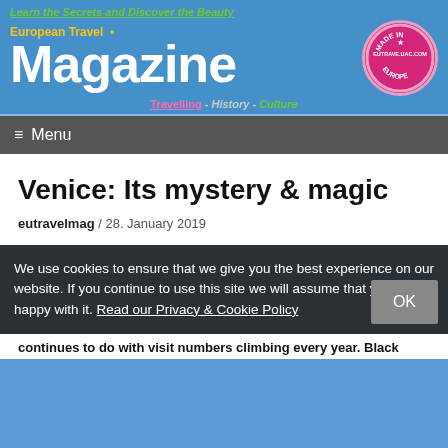Learn the Secrets and Discover the Beauty
European Travel Magazine
Travelling - History - Culture
≡ Menu
Venice: Its mystery & magic
eutravelmag / 28. January 2019
We use cookies to ensure that we give you the best experience on our website. If you continue to use this site we will assume that you are happy with it. Read our Privacy & Cookie Policy
continues to do with visit numbers climbing every year. Black